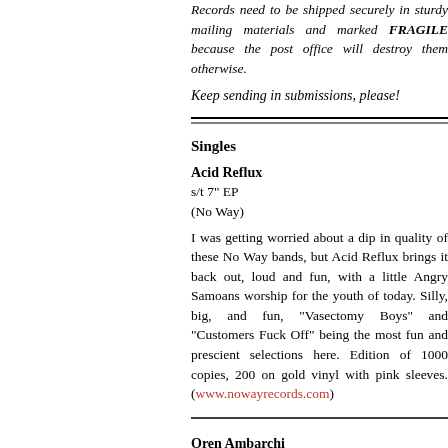Records need to be shipped securely in sturdy mailing materials and marked FRAGILE because the post office will destroy them otherwise.
Keep sending in submissions, please!
Singles
Acid Reflux
s/t 7" EP
(No Way)
I was getting worried about a dip in quality of these No Way bands, but Acid Reflux brings it back out, loud and fun, with a little Angry Samoans worship for the youth of today. Silly, big, and fun, "Vasectomy Boys" and "Customers Fuck Off" being the most fun and prescient selections here. Edition of 1000 copies, 200 on gold vinyl with pink sleeves. (www.nowayrecords.com)
Oren Ambarchi
Lost Like a Star 12"
(Bo'Weavil)
Ambarchi fires off two sides of plangent, multipartite, astoundingly clear drone in which all of the requisite elements (guitars, motors, bowed percussion, cymbals, samples) can be